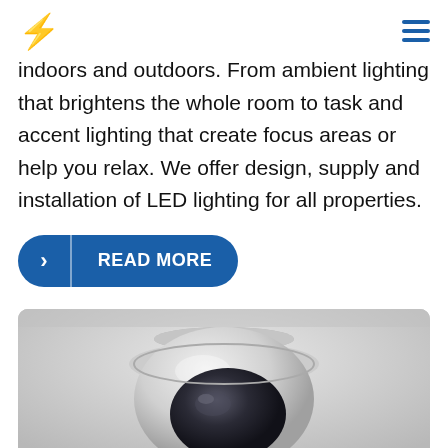Lightning bolt logo and hamburger menu
indoors and outdoors. From ambient lighting that brightens the whole room to task and accent lighting that create focus areas or help you relax. We offer design, supply and installation of LED lighting for all properties.
READ MORE
[Figure (photo): A white dome security camera mounted on a ceiling, viewed from below at a slight angle against a light grey background.]